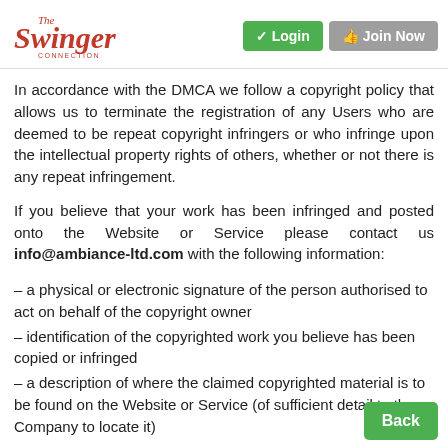[Figure (logo): The Swinger Connection logo in red cursive script]
[Figure (other): Login button (green) and Join Now button (grey) in the header]
In accordance with the DMCA we follow a copyright policy that allows us to terminate the registration of any Users who are deemed to be repeat copyright infringers or who infringe upon the intellectual property rights of others, whether or not there is any repeat infringement.
If you believe that your work has been infringed and posted onto the Website or Service please contact us info@ambiance-ltd.com with the following information:
– a physical or electronic signature of the person authorised to act on behalf of the copyright owner
– identification of the copyrighted work you believe has been copied or infringed
– a description of where the claimed copyrighted material is to be found on the Website or Service (of sufficient detail to the Company to locate it)